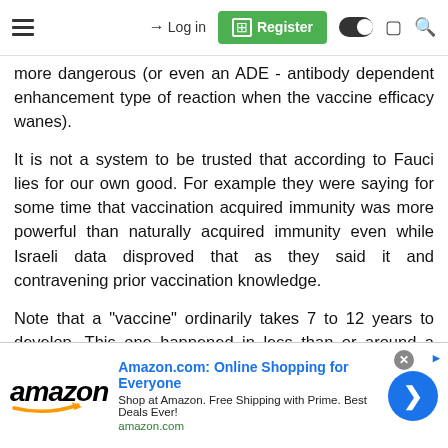Login | Register
more dangerous (or even an ADE - antibody dependent enhancement type of reaction when the vaccine efficacy wanes).
It is not a system to be trusted that according to Fauci lies for our own good. For example they were saying for some time that vaccination acquired immunity was more powerful than naturally acquired immunity even while Israeli data disproved that as they said it and contravening prior vaccination knowledge.
Note that a "vaccine" ordinarily takes 7 to 12 years to develop. This one happened in less than or around a years time.
I could go on but that will suffice me. ;0) You made a valid choice
[Figure (infographic): Amazon.com advertisement banner with Amazon logo, headline 'Amazon.com: Online Shopping for Everyone', subtext 'Shop at Amazon. Free Shipping with Prime. Best Deals Ever!', url 'amazon.com', and a blue circular arrow button.]